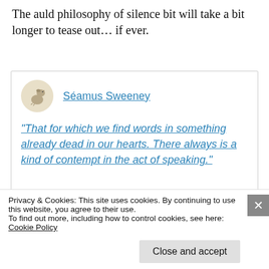The auld philosophy of silence bit will take a bit longer to tease out... if ever.
[Figure (other): Comment box with user avatar (circular icon with bird/crow silhouette on cream background), author name link 'Séamus Sweeney', and a quoted passage in blue underlined italic text: “That for which we find words in something already dead in our hearts. There always is a kind of contempt in the act of speaking.”]
Privacy & Cookies: This site uses cookies. By continuing to use this website, you agree to their use.
To find out more, including how to control cookies, see here:
Cookie Policy
Close and accept